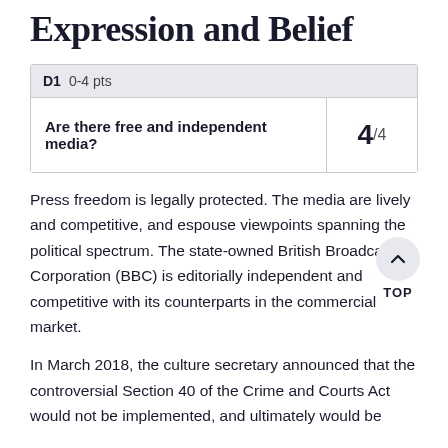Expression and Belief
| D1  0-4 pts |  |
| --- | --- |
| Are there free and independent media? | 4/4 |
Press freedom is legally protected. The media are lively and competitive, and espouse viewpoints spanning the political spectrum. The state-owned British Broadcasting Corporation (BBC) is editorially independent and competitive with its counterparts in the commercial market.
In March 2018, the culture secretary announced that the controversial Section 40 of the Crime and Courts Act would not be implemented, and ultimately would be